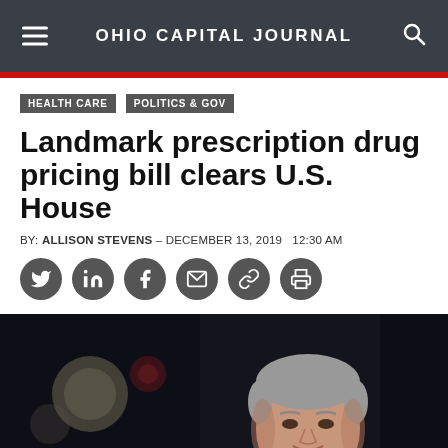OHIO CAPITAL JOURNAL
HEALTH CARE
POLITICS & GOV
Landmark prescription drug pricing bill clears U.S. House
BY: ALLISON STEVENS – DECEMBER 13, 2019   12:30 AM
[Figure (photo): Photo of a man speaking at a podium or event, shot in dark lighting with bokeh background lights visible. The subject is a middle-aged white male with short grey hair wearing a white shirt and dark tie.]